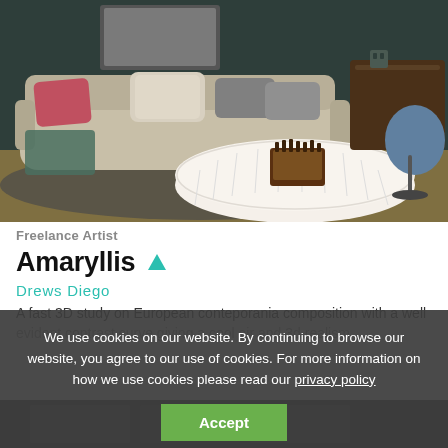[Figure (photo): Interior room photo showing a modern living room with a beige sofa with colorful pillows, a round white sculptural coffee table with a chess set on top, a dark teal/green wall, a wooden desk and blue chair in the background, and a patterned area rug.]
Freelance Artist
Amaryllis ▲
Drews Diego
A fast 3D study on European conteporania composition with a well evident contrast curve giving a cool air and 3d realism
We use cookies on our website. By continuing to browse our website, you agree to our use of cookies. For more information on how we use cookies please read our privacy policy
Accept
[Figure (photo): Bottom strip showing a dark interior image, partially visible.]